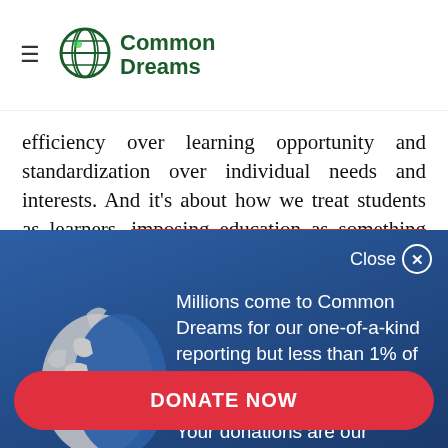Common Dreams
efficiency over learning opportunity and standardization over individual needs and interests. And it’s about how we treat students as learners, imposing education as something done to them rather
[Figure (screenshot): Common Dreams donation popup overlay on dark blue gradient background with globe icon, text about readers donating, and a DONATE NOW button]
Millions come to Common Dreams for our one-of-a-kind reporting but less than 1% of readers ever makes a donation to support our work. Your donations are our lifeblood.